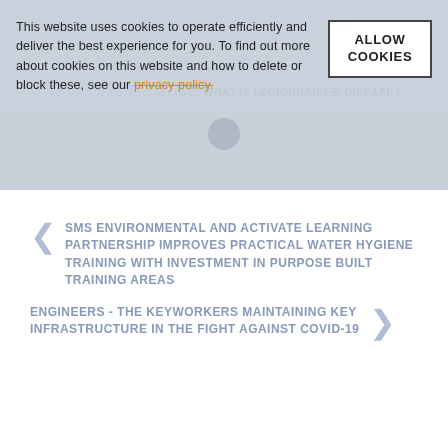This website uses cookies to operate efficiently and deliver the best experience for you. To find out more about cookies on this website and how to delete or block these, see our privacy policy.
ALLOW COOKIES
/ NEWS & BLOGS / WHAT IS LEGIONNAIRES' DISEASE?
< SMS ENVIRONMENTAL AND ACTIVATE LEARNING PARTNERSHIP IMPROVES PRACTICAL WATER HYGIENE TRAINING WITH INVESTMENT IN PURPOSE BUILT TRAINING AREAS
ENGINEERS - THE KEYWORKERS MAINTAINING KEY INFRASTRUCTURE IN THE FIGHT AGAINST COVID-19 >